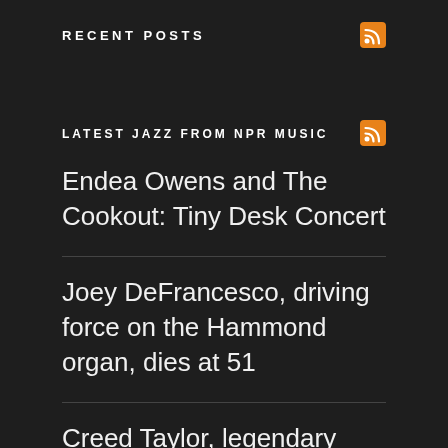RECENT POSTS
LATEST JAZZ FROM NPR MUSIC
Endea Owens and The Cookout: Tiny Desk Concert
Joey DeFrancesco, driving force on the Hammond organ, dies at 51
Creed Taylor, legendary producer who guided and expanded jazz, dead at 93